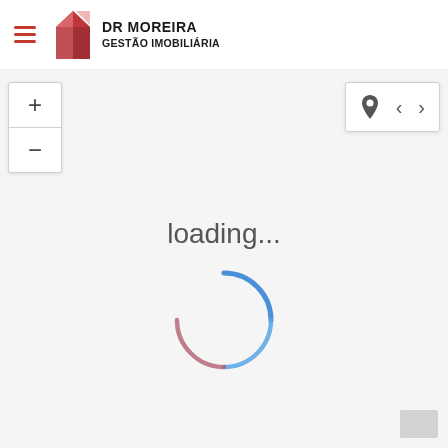[Figure (logo): DR MOREIRA GESTÃO IMOBILIÁRIA logo with red building icon and hamburger menu]
[Figure (screenshot): Map interface with zoom controls (+/-) on left, navigation controls (location pin, left arrow, right arrow) on top right, showing a loading spinner in the center of the map area]